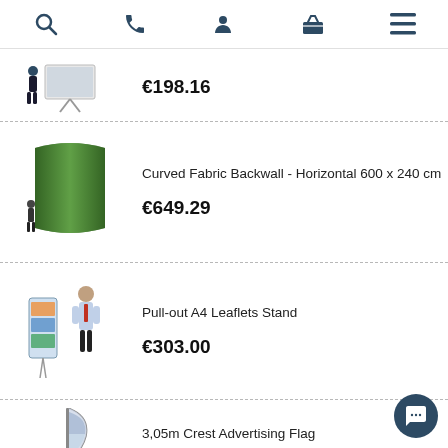Navigation bar with search, phone, account, basket, menu icons
[Figure (photo): Product photo: A-frame stand with person standing next to it]
€198.16
[Figure (photo): Product photo: Curved Fabric Backwall - Horizontal 600 x 240 cm, large curved display with green landscape print and person beside it]
Curved Fabric Backwall - Horizontal 600 x 240 cm
€649.29
[Figure (photo): Product photo: Pull-out A4 Leaflets Stand with man standing next to it]
Pull-out A4 Leaflets Stand
€303.00
[Figure (photo): Product photo: 3,05m Crest Advertising Flag, partial view]
3,05m Crest Advertising Flag